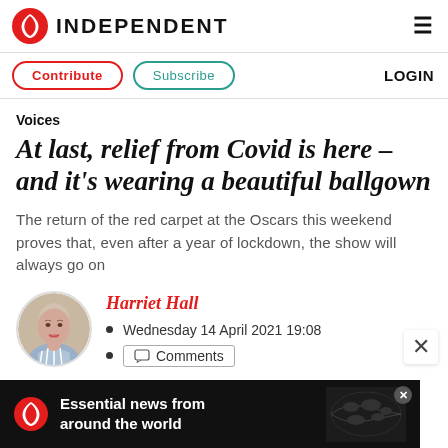INDEPENDENT
Contribute   Subscribe   LOGIN
Voices
At last, relief from Covid is here – and it's wearing a beautiful ballgown
The return of the red carpet at the Oscars this weekend proves that, even after a year of lockdown, the show will always go on
Harriet Hall
Wednesday 14 April 2021 19:08
Comments
[Figure (photo): Circular author headshot of Harriet Hall]
Essential news from around the world